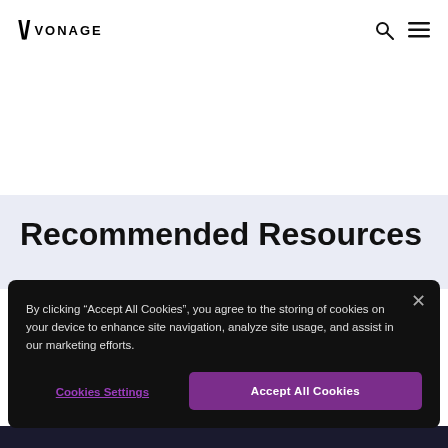Vonage
Recommended Resources
By clicking “Accept All Cookies”, you agree to the storing of cookies on your device to enhance site navigation, analyze site usage, and assist in our marketing efforts.
Cookies Settings
Accept All Cookies